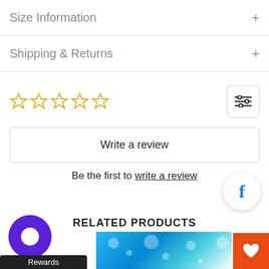Size Information
Shipping & Returns
[Figure (other): Five empty star rating icons in yellow/gold outline]
Write a review
Be the first to write a review
RELATED PRODUCTS
[Figure (other): Facebook share circular button with blue F logo]
[Figure (other): Purple Rewards chat bubble icon with Rewards label]
[Figure (other): Blue bubbles product image thumbnail]
[Figure (other): Orange wishlist heart button]